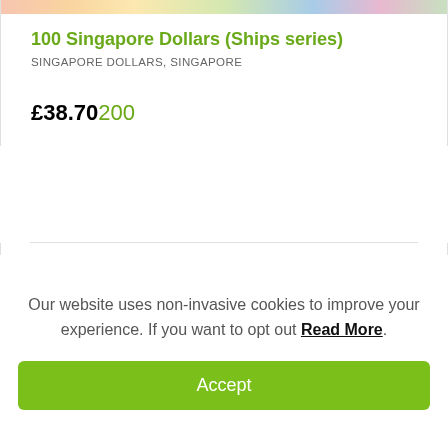[Figure (photo): Colorful banknote image strip at top of listing card]
100 Singapore Dollars (Ships series)
SINGAPORE DOLLARS, SINGAPORE
£38.70200
[Figure (photo): Singapore $5 banknote (Birds series) showing a bird and Singapore coat of arms, serial number A/2 246438]
Our website uses non-invasive cookies to improve your experience. If you want to opt out Read More.
Accept